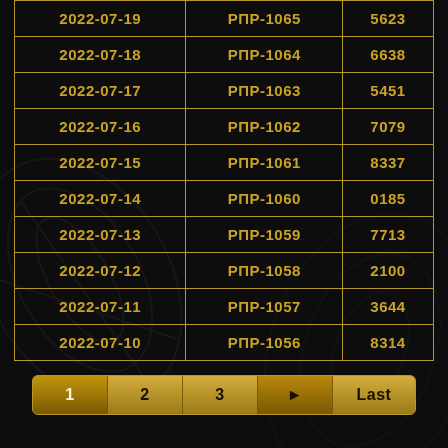| 2022-07-19 | РПР-1065 | 5623 |
| 2022-07-18 | РПР-1064 | 6638 |
| 2022-07-17 | РПР-1063 | 5451 |
| 2022-07-16 | РПР-1062 | 7079 |
| 2022-07-15 | РПР-1061 | 8337 |
| 2022-07-14 | РПР-1060 | 0185 |
| 2022-07-13 | РПР-1059 | 7713 |
| 2022-07-12 | РПР-1058 | 2100 |
| 2022-07-11 | РПР-1057 | 3644 |
| 2022-07-10 | РПР-1056 | 8314 |
1  2  3  >  Last